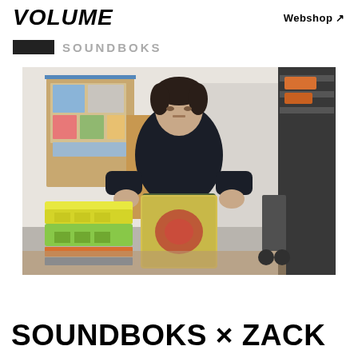VOLUME   Webshop ↗
SOUNDBOKS
[Figure (photo): A young man with curly dark hair sitting on a decorative speaker (SOUNDBOKS) in a cluttered room with colorful plastic crates, books, shelving, and a bulletin board with papers on the wall.]
SOUNDBOKS × ZACK